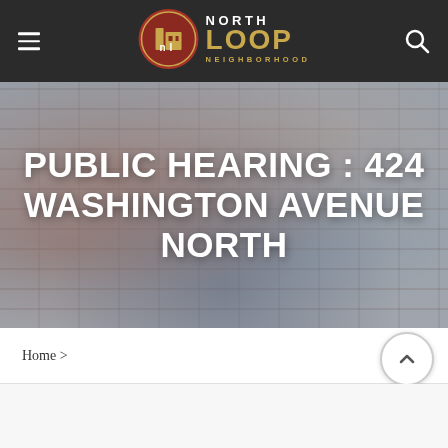[Figure (logo): North Loop Neighborhood logo with circular red/dark icon and text]
PUBLIC HEARING : 424 WASHINGTON AVENUE NORTH
Home >